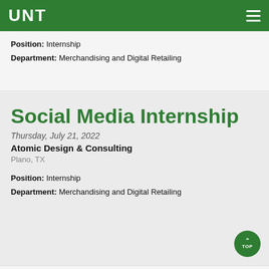UNT
Position: Internship
Department: Merchandising and Digital Retailing
Social Media Internship
Thursday, July 21, 2022
Atomic Design & Consulting
Plano, TX
Position: Internship
Department: Merchandising and Digital Retailing
Social Media Content